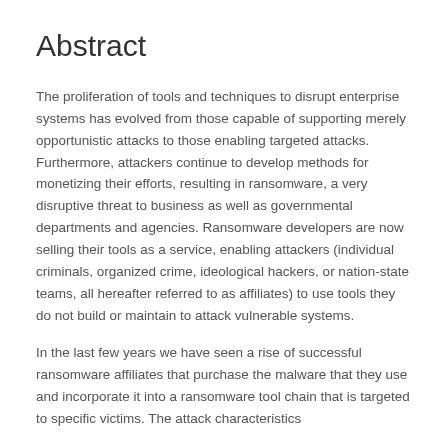Abstract
The proliferation of tools and techniques to disrupt enterprise systems has evolved from those capable of supporting merely opportunistic attacks to those enabling targeted attacks. Furthermore, attackers continue to develop methods for monetizing their efforts, resulting in ransomware, a very disruptive threat to business as well as governmental departments and agencies. Ransomware developers are now selling their tools as a service, enabling attackers (individual criminals, organized crime, ideological hackers, or nation-state teams, all hereafter referred to as affiliates) to use tools they do not build or maintain to attack vulnerable systems.
In the last few years we have seen a rise of successful ransomware affiliates that purchase the malware that they use and incorporate it into a ransomware tool chain that is targeted to specific victims. The attack characteristics